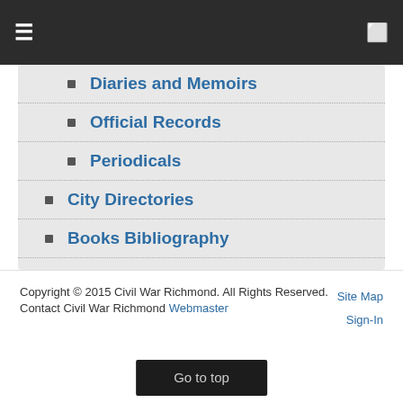≡  [monitor icon]
Diaries and Memoirs
Official Records
Periodicals
City Directories
Books Bibliography
Periodicals Bibliography
Centennial Publications
By Year of Publication
Copyright © 2015 Civil War Richmond. All Rights Reserved.
Contact Civil War Richmond Webmaster
Site Map
Sign-In
Go to top